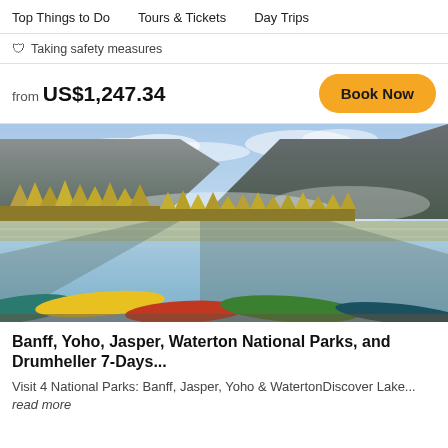Top Things to Do   Tours & Tickets   Day Trips
🛡 Taking safety measures
from US$1,247.34
Book Now
[Figure (photo): Mountain lake scene with misty peaks, golden autumn trees reflected in calm water, colorful kayaks in the foreground]
Banff, Yoho, Jasper, Waterton National Parks, and Drumheller 7-Days...
Visit 4 National Parks: Banff, Jasper, Yoho & WatertonDiscover Lake...  read more